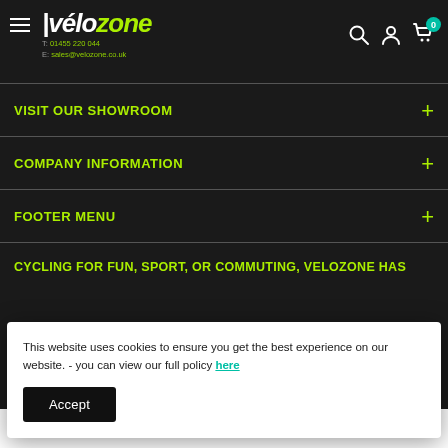vélozone | T: 01455 220 044 | E: sales@velozone.co.uk
VISIT OUR SHOWROOM
COMPANY INFORMATION
FOOTER MENU
CYCLING FOR FUN, SPORT, OR COMMUTING, VELOZONE HAS
This website uses cookies to ensure you get the best experience on our website. - you can view our full policy here
Accept
A short sentence describing what someone will receive by